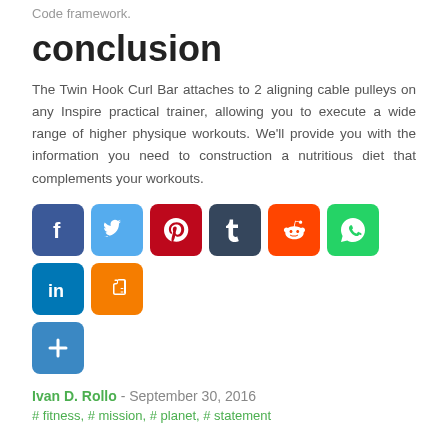Code framework.
conclusion
The Twin Hook Curl Bar attaches to 2 aligning cable pulleys on any Inspire practical trainer, allowing you to execute a wide range of higher physique workouts. We'll provide you with the information you need to construction a nutritious diet that complements your workouts.
[Figure (infographic): Row of social media share buttons: Facebook (blue), Twitter (light blue), Pinterest (red), Tumblr (dark blue), Reddit (orange-red), WhatsApp (green), LinkedIn (blue), Blogger (orange), and a Share/Plus button (blue).]
Ivan D. Rollo - September 30, 2016
# fitness, # mission, # planet, # statement